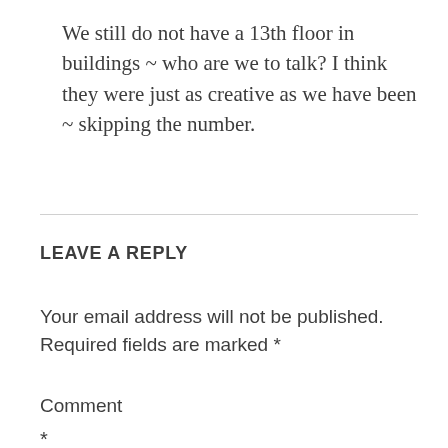We still do not have a 13th floor in buildings ~ who are we to talk? I think they were just as creative as we have been ~ skipping the number.
LEAVE A REPLY
Your email address will not be published. Required fields are marked *
Comment
*